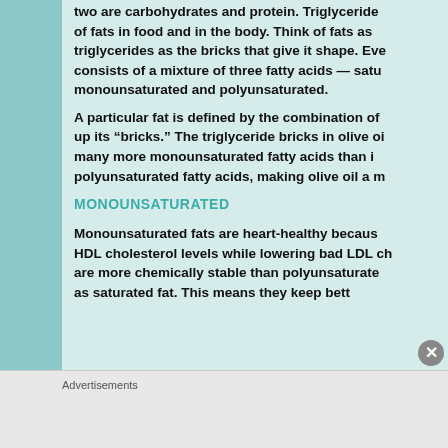two are carbohydrates and protein. Triglycerides of fats in food and in the body. Think of fats as triglycerides as the bricks that give it shape. Every consists of a mixture of three fatty acids — saturated, monounsaturated and polyunsaturated.
A particular fat is defined by the combination of up its "bricks." The triglyceride bricks in olive oil many more monounsaturated fatty acids than it polyunsaturated fatty acids, making olive oil a m
MONOUNSATURATED
Monounsaturated fats are heart-healthy because HDL cholesterol levels while lowering bad LDL ch are more chemically stable than polyunsaturate as saturated fat. This means they keep bett
Advertisements